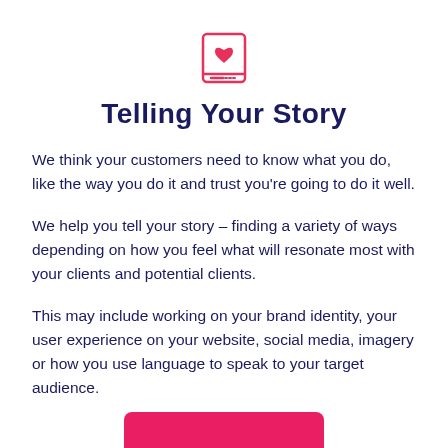[Figure (illustration): Pink/red icon of a book with a heart on the cover]
Telling Your Story
We think your customers need to know what you do, like the way you do it and trust you're going to do it well.
We help you tell your story – finding a variety of ways depending on how you feel what will resonate most with your clients and potential clients.
This may include working on your brand identity, your user experience on your website, social media, imagery or how you use language to speak to your target audience.
[Figure (other): Pink/red button partially visible at the bottom of the page]